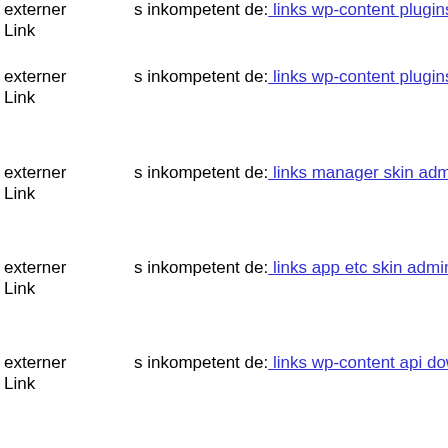externer Link  s inkompetent de: links wp-content plugins wp-mobile-dete...
externer Link  s inkompetent de: links wp-content plugins optimize js 166
externer Link  s inkompetent de: links manager skin administrator compor...
externer Link  s inkompetent de: links app etc skin administrator administ...
externer Link  s inkompetent de: links wp-content api downloader compor...
externer Link  dnik net: seo media includes components com jnewsletter i...
externer Link  s inkompetent de: links admin wp-content themes bazar the...
externer Link  dnik org: index index ajaxdata
externer Link  mail inkompetent de: links includes libs php
externer Link  s inkompetent de: links manager skin wp-content plugins w...
externer Link  s inkompetent de: links manager skin components com crea...
externer Link  s inkompetent de: links wp-content api downloader mylun...